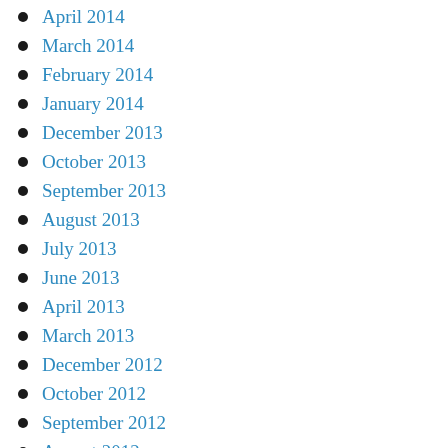April 2014
March 2014
February 2014
January 2014
December 2013
October 2013
September 2013
August 2013
July 2013
June 2013
April 2013
March 2013
December 2012
October 2012
September 2012
August 2012
June 2012